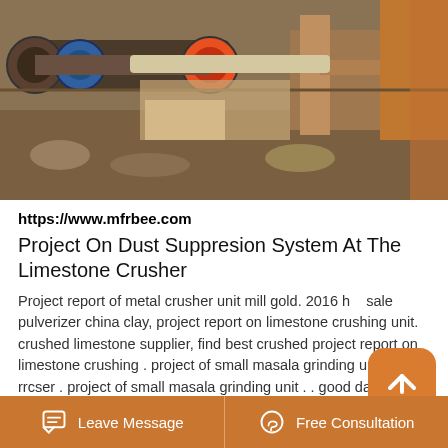[Figure (photo): Industrial machinery / limestone crusher equipment photographed outdoors with FTM logo watermark overlay in upper right]
https://www.mfrbee.com
Project On Dust Suppresion System At The Limestone Crusher
Project report of metal crusher unit mill gold. 2016 hot sale pulverizer china clay, project report on limestone crushing unit. crushed limestone supplier, find best crushed project report on limestone crushing . project of small masala grinding unit - rrcser . project of small masala grinding unit . . good day! i am planning to setup a spice grinding unit.
Project report on limestone crushing unit. dutch